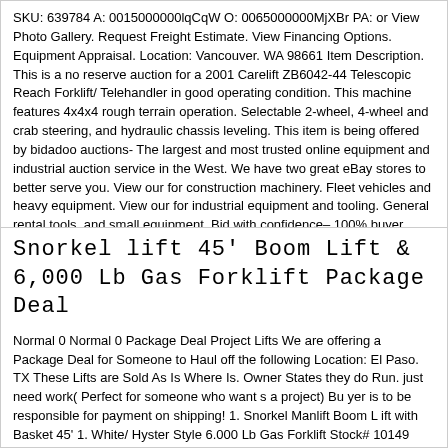SKU: 639784 A: 0015000000lqCqW O: 0065000000MjXBr PA: or View Photo Gallery. Request Freight Estimate. View Financing Options. Equipment Appraisal. Location: Vancouver. WA 98661 Item Description. This is a no reserve auction for a 2001 Carelift ZB6042-44 Telescopic Reach Forklift/ Telehandler in good operating condition. This machine features 4x4x4 rough terrain operation. Selectable 2-wheel, 4-wheel and crab steering, and hydraulic chassis leveling. This item is being offered by bidadoo auctions- The largest and most trusted online equipment and industrial auction service in the West. We have two great eBay stores to better serve you. View our for construction machinery. Fleet vehicles and heavy equipment. View our for industrial equipment and tooling. General rental tools, and small equipment. Bid with confidence– 100% buyer satisfaction ... more
Snorkel lift 45' Boom Lift & 6,000 Lb Gas Forklift Package Deal
Normal 0 Normal 0 Package Deal Project Lifts We are offering a Package Deal for Someone to Haul off the following Location: El Paso. TX These Lifts are Sold As Is Where Is. Owner States they do Run. just need work( Perfect for someone who want s a project) Bu yer is to be responsible for payment on shipping! 1. Snorkel Manlift Boom L ift with Basket 45' 1. White/ Hyster Style 6.000 Lb Gas Forklift Stock# 10149 Location: E L Paso. Texas Pr iced to Move ASAP! Follow Us On Twitter! WSHEquipment Call for Questions Greg@ 602-299-8766 Or Gary@ 480-694-9479 TERMS OF SALE& NOTIFICATION TO BIDDERS WE CAN PROVIDE BUYERS WITH THE MOST COMPETITIVE RATE/SHIPPING QUOTES. DIRECTLY FROM CARRIERS. PLEASE PROVIDE US WITH YOUR CITY, STATE& ZIP CODE. OVER SEAS QUOTES CAN TAKES SEVERAL DAYS DUE TO LOGISTICS OF LANDA OCEAN PORT DESTINATIONS. All